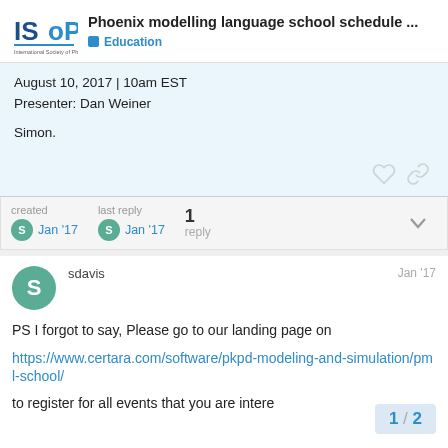Phoenix modelling language school schedule ... | Education
August 10, 2017 | 10am EST
Presenter: Dan Weiner

Simon.
created Jan '17   last reply Jan '17   1 reply
sdavis   Jan '17
PS I forgot to say, Please go to our landing page on

https://www.certara.com/software/pkpd-modeling-and-simulation/pml-school/

to register for all events that you are intere
1 / 2